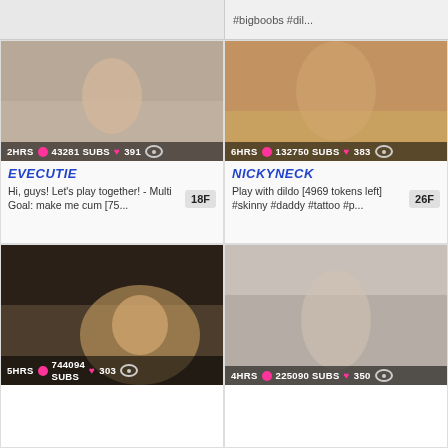#bigboobs #dil...
[Figure (screenshot): Livestream thumbnail EVECUTIE - 2HRS, 43281 SUBS, 391 views]
EVECUTIE
Hi, guys! Let's play together! - Multi Goal: make me cum [75...
[Figure (screenshot): Livestream thumbnail NICKYNECK - 6HRS, 132750 SUBS, 383 views]
NICKYNECK
Play with dildo [4969 tokens left] #skinny #daddy #tattoo #p...
[Figure (screenshot): Livestream thumbnail - 5HRS, 744094 SUBS, 303 views]
[Figure (screenshot): Livestream thumbnail - 4HRS, 225090 SUBS, 350 views]